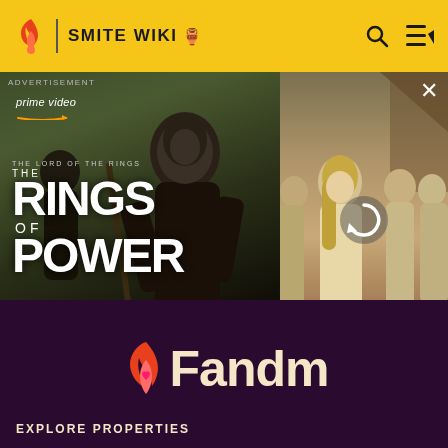SMITE WIKI 🏺
[Figure (screenshot): Amazon Prime Video advertisement for 'The Lord of the Rings: The Rings of Power' new series, showing dark hooded figure on left and group of people on right with reload icon overlay]
3.0 unless otherwise noted.
[Figure (logo): Fandom logo with flame icon and heart - white/cream text on dark purple background]
EXPLORE PROPERTIES